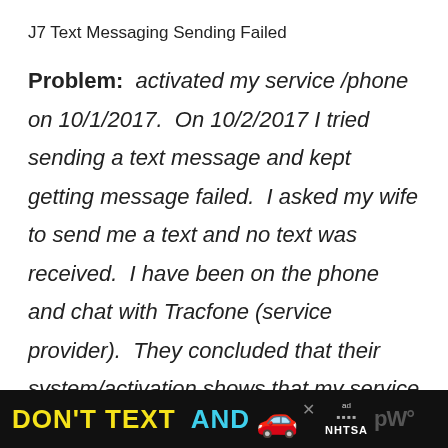J7 Text Messaging Sending Failed
Problem:  activated my service /phone on 10/1/2017.  On 10/2/2017 I tried sending a text message and kept getting message failed.  I asked my wife to send me a text and no text was received.  I have been on the phone and chat with Tracfone (service provider).  They concluded that their system/activation shows that my service should be working.
[Figure (advertisement): Black banner ad at bottom reading DON'T TEXT AND with a red car emoji, an ad choices icon, and NHTSA logo]